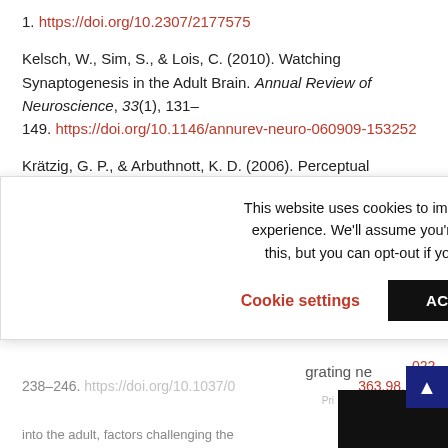1. https://doi.org/10.2307/2177575
Kelsch, W., Sim, S., & Lois, C. (2010). Watching Synaptogenesis in the Adult Brain. Annual Review of Neuroscience, 33(1), 131–149. https://doi.org/10.1146/annurev-neuro-060909-153252
Krätzig, G. P., & Arbuthnott, K. D. (2006). Perceptual learning style and learning proficiency: A test of the hypothesis. Journal of Educational Psychology, 98(1), 238–246. https://doi.org/10.1037/0022-0663.98.1.238
This website uses cookies to improve your experience. We'll assume you're ok with this, but you can opt-out if you wish.
Cookie settings  ACCEPT